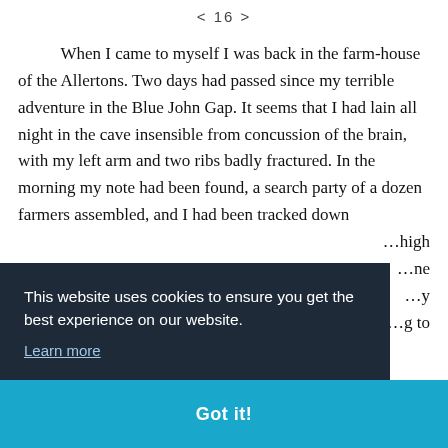< 16 >
When I came to myself I was back in the farm-house of the Allertons. Two days had passed since my terrible adventure in the Blue John Gap. It seems that I had lain all night in the cave insensible from concussion of the brain, with my left arm and two ribs badly fractured. In the morning my note had been found, a search party of a dozen farmers assembled, and I had been tracked down …high …ne …y …g to
This website uses cookies to ensure you get the best experience on our website. Learn more
Got it!
Six weeks have now elapsed, and I am able to sit out